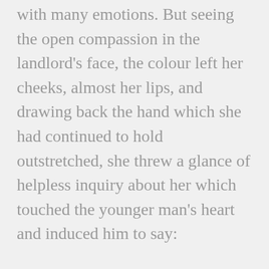with many emotions. But seeing the open compassion in the landlord's face, the colour left her cheeks, almost her lips, and drawing back the hand which she had continued to hold outstretched, she threw a glance of helpless inquiry about her which touched the younger man's heart and induced him to say:
"The truth should not be hard to find in a case like this. I'm sure the young lady can explain. Doctor Golden, are you ready for her story?"
The coroner, who had been silent up till now,